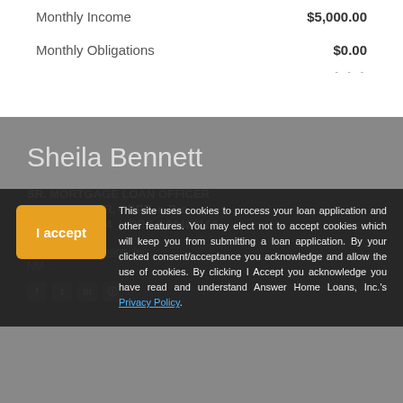Monthly Income   $5,000.00
Monthly Obligations   $0.00
Sheila Bennett
SR. MORTGAGE LOAN OFFICER
REALTOR, SFR, CDPE, e-Pro
NMLS # 123584  |  DRE # 01493166
Answer Home Loans, Inc
This site uses cookies to process your loan application and other features. You may elect not to accept cookies which will keep you from submitting a loan application. By your clicked consent/acceptance you acknowledge and allow the use of cookies. By clicking I Accept you acknowledge you have read and understand Answer Home Loans, Inc.'s Privacy Policy.
Ste 500
Granite Bay, CA 95746
Phone: (916) 752-9432